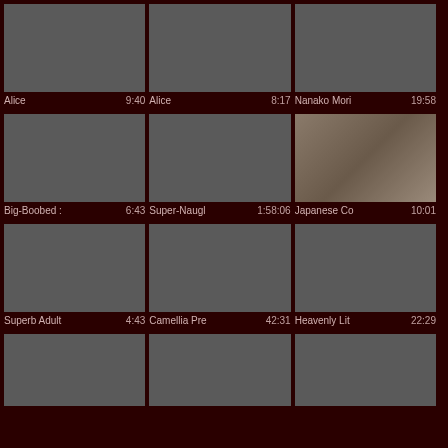[Figure (screenshot): Video thumbnail grid showing 9+ video tiles with titles and durations]
Alice 9:40
Alice 8:17
Nanako Mori 19:58
Big-Boobed 6:43
Super-Naugl 1:58:06
Japanese Co 10:01
Superb Adult 4:43
Camellia Pre 42:31
Heavenly Lit 22:29